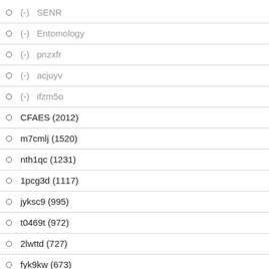(-) SENR
(-) Entomology
(-) pnzxfr
(-) acjuyv
(-) ifzm5o
CFAES (2012)
m7cmlj (1520)
nth1qc (1231)
1pcg3d (1117)
jyksc9 (995)
t0469t (972)
2lwttd (727)
fyk9kw (673)
Wooster Campus Student Programming & Life (575)
pr1wnh (522)